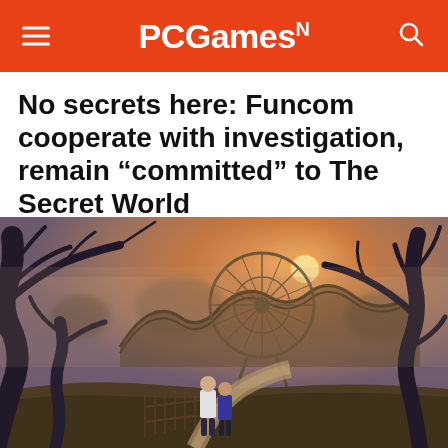PCGamesN
No secrets here: Funcom cooperate with investigation, remain “committed” to The Secret World
[Figure (screenshot): Game screenshot from The Secret World showing a post-apocalyptic abandoned amusement park with a Ferris wheel, twisted bare trees, a wooden fence, a winding path, and two characters viewed from behind walking toward the park at dusk with a hazy orange sky.]